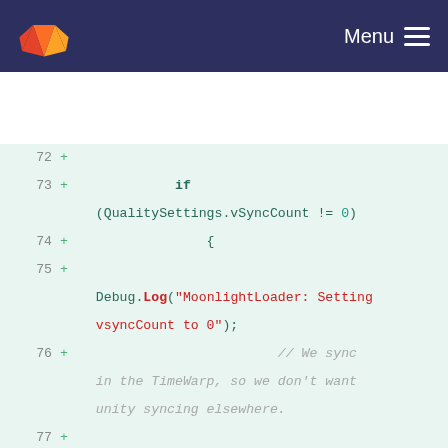[Figure (screenshot): GitLab navigation bar with logo and Menu button]
Code diff showing lines 72-83 of a C# source file with added lines (+) showing if/QualitySettings.vSyncCount logic and EnforceBundleId function start